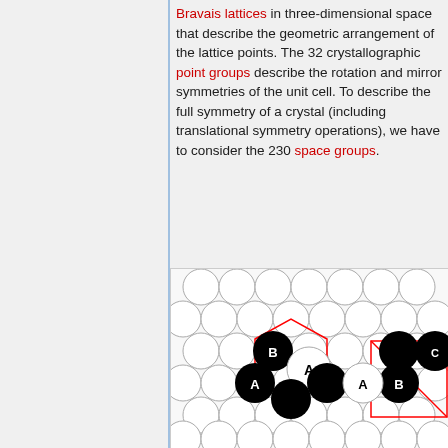Bravais lattices in three-dimensional space that describe the geometric arrangement of the lattice points. The 32 crystallographic point groups describe the rotation and mirror symmetries of the unit cell. To describe the full symmetry of a crystal (including translational symmetry operations), we have to consider the 230 space groups.
[Figure (illustration): Diagram showing circles arranged in a hexagonal lattice pattern. Black and white circles are labeled A and B, with red polygon outlines indicating unit cells. Two unit cell examples are shown side by side.]